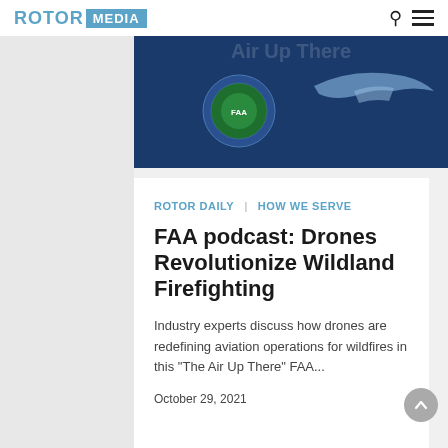ROTOR MEDIA
[Figure (photo): Dark navy blue hero image with FAA seal/logo and helicopter silhouette, partially visible at top of article card]
ROTOR Daily   How We Serve
FAA podcast: Drones Revolutionize Wildland Firefighting
Industry experts discuss how drones are redefining aviation operations for wildfires in this "The Air Up There" FAA...
October 29, 2021